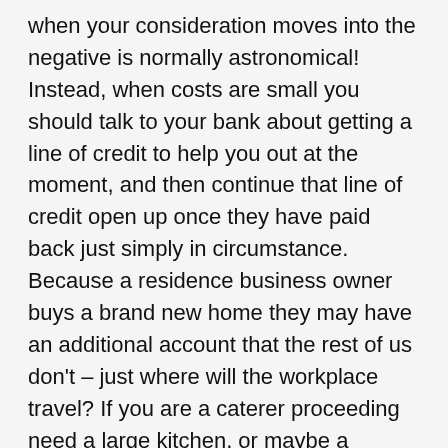when your consideration moves into the negative is normally astronomical! Instead, when costs are small you should talk to your bank about getting a line of credit to help you out at the moment, and then continue that line of credit open up once they have paid back just simply in circumstance. Because a residence business owner buys a brand new home they may have an additional account that the rest of us don't – just where will the workplace travel? If you are a caterer proceeding need a large kitchen, or maybe a carpenter will be needing a place where he can do the job along with his hardwood. Be sure to twin check that the area you intend to use is feasible! Consider a job from home which should enable you to get regular income. This kind of could always be by offering a monthly service, or a merchandise which should be is in fact or improved, or such great provider that folks will come back again and again and refer one to heir family and friends.